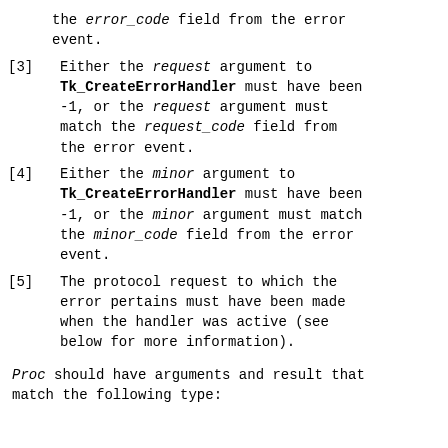the error_code field from the error event.
[3] Either the request argument to Tk_CreateErrorHandler must have been -1, or the request argument must match the request_code field from the error event.
[4] Either the minor argument to Tk_CreateErrorHandler must have been -1, or the minor argument must match the minor_code field from the error event.
[5] The protocol request to which the error pertains must have been made when the handler was active (see below for more information).
Proc should have arguments and result that match the following type: